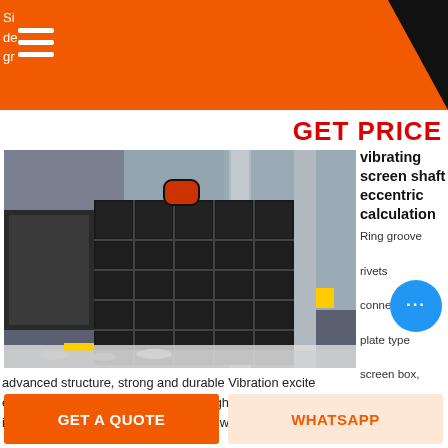Si de gr
GET PRICE
[Figure (photo): Industrial vibrating screen machine with grid structure displayed in a factory/warehouse setting]
vibrating screen shaft eccentric calculation Ring groove rivets connection, plate type screen box,
advanced structure, strong and durable Vibration exciter eccentric shaft and eccentric block, high Round vibrating screen is a kind of advanced vibrating screen with Vibrating screen
GET A QUOTE
WHATSAPP